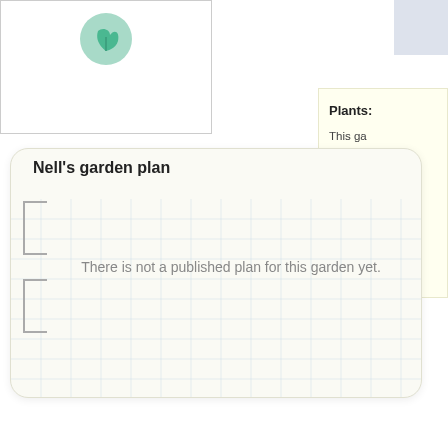[Figure (logo): Green circular leaf/sprout icon on white card background]
[Figure (screenshot): Partial blue-gray card in top-right corner]
[Figure (screenshot): Partial yellow card on right side with 'Plants:' heading and description text]
Nell's garden plan
There is not a published plan for this garden yet.